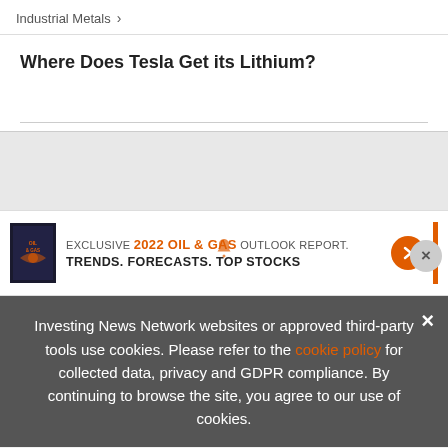Industrial Metals >
Where Does Tesla Get its Lithium?
[Figure (infographic): Advertisement banner: book cover image alongside text 'EXCLUSIVE 2022 OIL & GAS OUTLOOK REPORT. TRENDS. FORECASTS. TOP STOCKS.' with orange arrow button and orange vertical bar. Also a notification bell icon above the banner and an X close button.]
Investing News Network websites or approved third-party tools use cookies. Please refer to the cookie policy for collected data, privacy and GDPR compliance. By continuing to browse the site, you agree to our use of cookies.